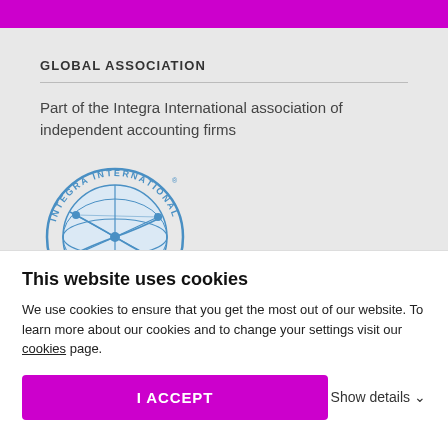GLOBAL ASSOCIATION
Part of the Integra International association of independent accounting firms
[Figure (logo): Integra International circular logo in blue, showing a globe with network lines and the text 'INTEGRA INTERNATIONAL' around the border]
LOCATION
This website uses cookies
We use cookies to ensure that you get the most out of our website. To learn more about our cookies and to change your settings visit our cookies page.
I ACCEPT
Show details